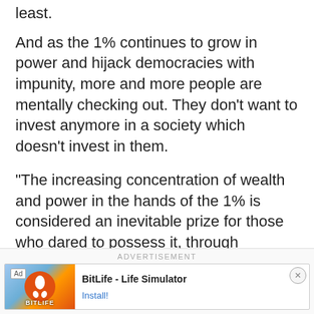least.
And as the 1% continues to grow in power and hijack democracies with impunity, more and more people are mentally checking out. They don’t want to invest anymore in a society which doesn’t invest in them.
“The increasing concentration of wealth and power in the hands of the 1% is considered an inevitable prize for those who dared to possess it, through whatever means necessary,” notes Dr. Jean Kim.
[Figure (other): Advertisement placeholder box with label ADVERTISEMENT]
[Figure (other): Advertisement banner for BitLife - Life Simulator app with Install button]